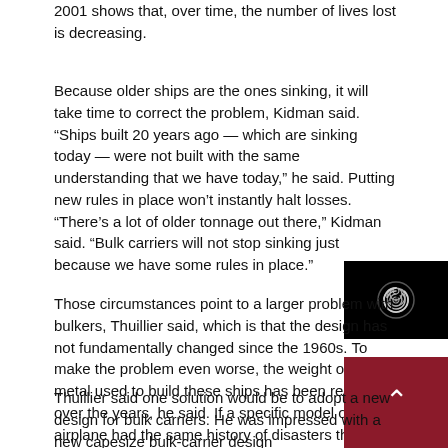2001 shows that, over time, the number of lives lost is decreasing.
Because older ships are the ones sinking, it will take time to correct the problem, Kidman said. “Ships built 20 years ago — which are sinking today — were not built with the same understanding that we have today,” he said. Putting new rules in place won’t instantly halt losses. “There’s a lot of older tonnage out there,” Kidman said. “Bulk carriers will not stop sinking just because we have some rules in place.”
[Figure (other): Black box with spiral/swirl icon]
Those circumstances point to a larger problem with bulkers, Thuillier said, which is that the design has not fundamentally changed since the 1960s. To make the problem even worse, the weight of the metal used to build these ships has been reduced over the years, he said. If a specific model of airplane had the same history of disasters that bulkers have, it would have been scrapped or redesigned years ago, he said.
[Figure (other): Dark red/maroon box with white upward chevron arrow]
Thuillier said one solution would be to adopt a new design for bulk carriers. He was impressed with a new capesize bulk-carrier design